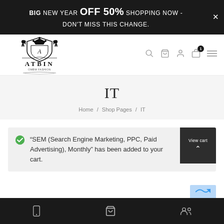BIG NEW YEAR OFF 50% SHOPPING NOW - DON'T MISS THIS CHANGE.
[Figure (logo): ATBIN brand logo with heraldic crest featuring two lions, a crown, and an 'A' on a shield]
IT
Home / Shop Pages / IT
"SEM (Search Engine Marketing, PPC, Paid Advertising), Monthly" has been added to your cart.
Bottom navigation bar with mobile, cart, and people icons